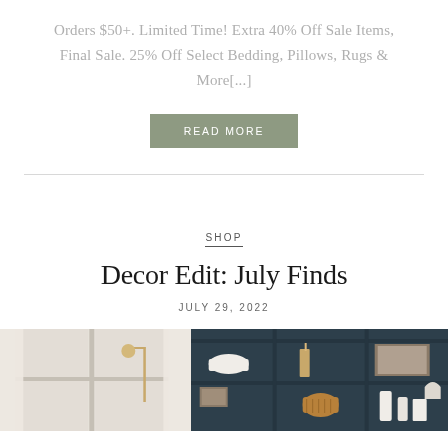Orders $50+. Limited Time! Extra 40% Off Sale Items, Final Sale. 25% Off Select Bedding, Pillows, Rugs & More[...]
READ MORE
SHOP
Decor Edit: July Finds
JULY 29, 2022
[Figure (photo): Two side-by-side lifestyle images: left shows a bright window with sheer curtains and a wall-mounted adjustable arm lamp, right shows a dark navy bookshelf with decorative objects including bowls, a basket, and small framed art.]